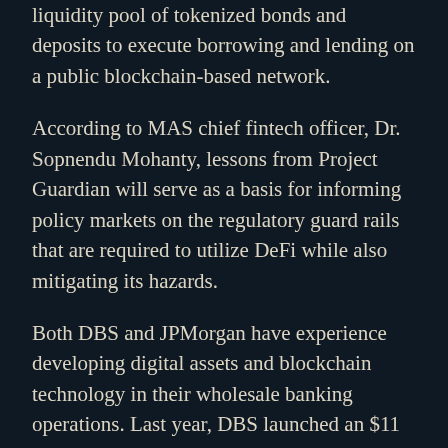liquidity pool of tokenized bonds and deposits to execute borrowing and lending on a public blockchain-based network.
According to MAS chief fintech officer, Dr. Sopnendu Mohanty, lessons from Project Guardian will serve as a basis for informing policy markets on the regulatory guard rails that are required to utilize DeFi while also mitigating its hazards.
Both DBS and JPMorgan have experience developing digital assets and blockchain technology in their wholesale banking operations. Last year, DBS launched an $11 million digital bond in a security token offering (STO). Since its inception in 2020, JPMorgan's Onyx Digital Assets Network has completed over $300 billion of transactions.
Related: Singapore aims to streamline financial